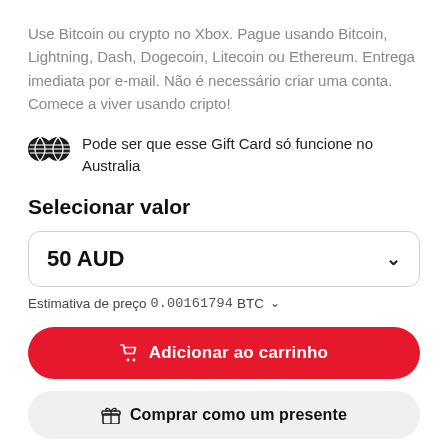Use Bitcoin ou crypto no Xbox. Pague usando Bitcoin, Lightning, Dash, Dogecoin, Litecoin ou Ethereum. Entrega imediata por e-mail. Não é necessário criar uma conta. Comece a viver usando cripto!
Pode ser que esse Gift Card só funcione no Australia
Selecionar valor
50 AUD
Estimativa de preço 0.00161794 BTC
Adicionar ao carrinho
Comprar como um presente